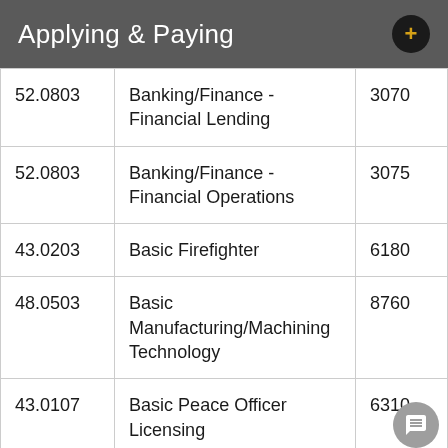Applying & Paying
|  |  |  |
| --- | --- | --- |
| 52.0803 | Banking/Finance - Financial Lending | 3070 |
| 52.0803 | Banking/Finance - Financial Operations | 3075 |
| 43.0203 | Basic Firefighter | 6180 |
| 48.0503 | Basic Manufacturing/Machining Technology | 8760 |
| 43.0107 | Basic Peace Officer Licensing | 6310 |
| 52.0201 | Business Management - | 3112 |